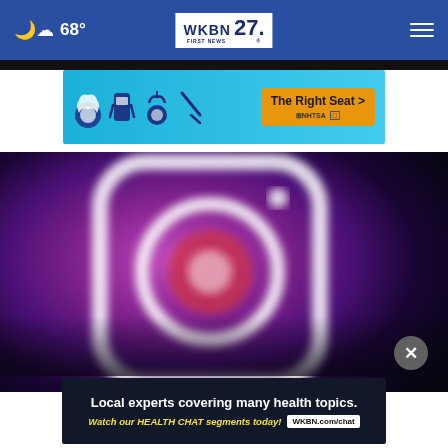☁ 68° | WKBN FIRST NEWS 27
[Figure (photo): NHTSA car seat safety advertisement banner with blue background showing child seat icons and 'The Right Seat >' button]
[Figure (photo): Blurred Instagram logo on dark purple/magenta gradient background]
[Figure (photo): WKBN Health Chat advertisement: 'Local experts covering many health topics. Watch our HEALTH CHAT segments today! WKBN.com/chat']